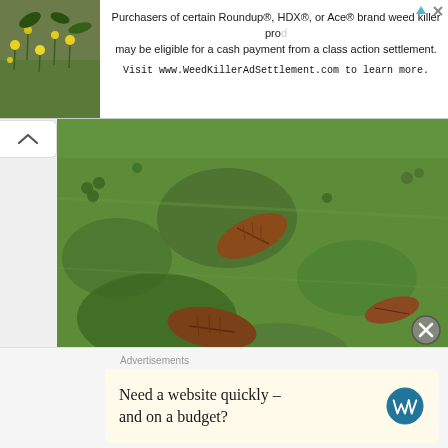[Figure (other): Advertisement banner at top: thumbnail of yellow flowers on left; text reads 'Purchasers of certain Roundup®, HDX®, or Ace® brand weed killer products may be eligible for a cash payment from a class action settlement. Visit www.WeedKillerAdSettlement.com to learn more.']
[Figure (photo): Close-up photo of a green lawn with clover patches and fallen brown oak leaves scattered across it.]
[Figure (photo): Photo looking up through tree branches with yellow-green foliage against a pale sky.]
Advertisements
[Figure (other): WordPress advertisement: 'Need a website quickly – and on a budget?' with WordPress logo on right, on a pale yellow background.]